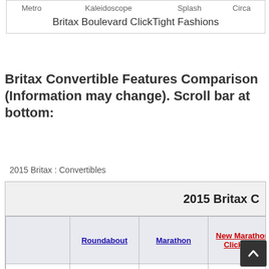| Metro | Kaleidoscope | Splash | Circa |
| --- | --- | --- | --- |
| Britax Boulevard ClickTight Fashions |
Britax Convertible Features Comparison (Information may change).  Scroll bar at bottom:
2015 Britax : Convertibles
|  | Roundabout | Marathon | New Marathon ClickTight |
| --- | --- | --- | --- |
| MSRP | $179.99 | $289.99 | $329.99 |
| Top Harness Height | 16.5" | 17.5" | 17.7" |
| RF Seated Height | ~24" | ~24" | ~25" |
| Head Safety Technology | SafeCell Technology in base | SafeCell Technology in base | SafeCell Technology in base |